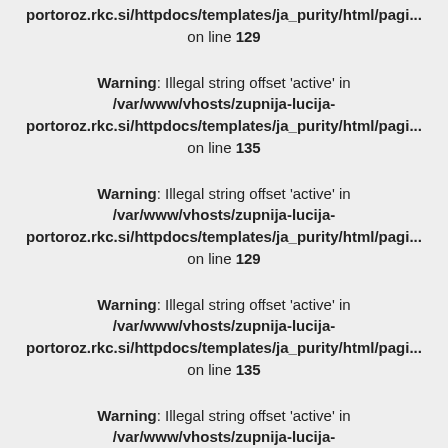portoroz.rkc.si/httpdocs/templates/ja_purity/html/pagi... on line 129
Warning: Illegal string offset 'active' in /var/www/vhosts/zupnija-lucija-portoroz.rkc.si/httpdocs/templates/ja_purity/html/pagi... on line 135
Warning: Illegal string offset 'active' in /var/www/vhosts/zupnija-lucija-portoroz.rkc.si/httpdocs/templates/ja_purity/html/pagi... on line 129
Warning: Illegal string offset 'active' in /var/www/vhosts/zupnija-lucija-portoroz.rkc.si/httpdocs/templates/ja_purity/html/pagi... on line 135
Warning: Illegal string offset 'active' in /var/www/vhosts/zupnija-lucija-portoroz.rkc.si/httpdocs/templates/ja_purity/html/pagi... on line 129
Warning: Illegal string offset 'active' in /var/www/vhosts/zupnija-lucija-portoroz.rkc.si/httpdocs/templates/ja_purity/html/pagi...